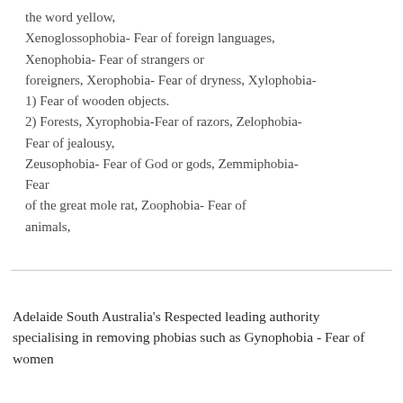the word yellow, Xenoglossophobia- Fear of foreign languages, Xenophobia- Fear of strangers or foreigners, Xerophobia- Fear of dryness, Xylophobia- 1) Fear of wooden objects. 2) Forests, Xyrophobia-Fear of razors, Zelophobia- Fear of jealousy, Zeusophobia- Fear of God or gods, Zemmiphobia- Fear of the great mole rat, Zoophobia- Fear of animals,
Adelaide South Australia's Respected leading authority specialising in removing phobias such as Gynophobia - Fear of women